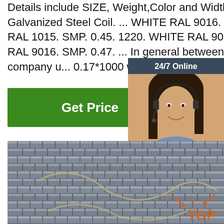Details include SIZE, Weight,Color and Width about Prepainted Galvanized Steel Coil. ... WHITE RAL 9016. SMP. 0.45. 1220. CREAM RAL 1015. SMP. 0.45. 1220. WHITE RAL 9016. SMP. 0.48. 1135. WHITE RAL 9016. SMP. 0.47. ... In general between 3.5 and 5 tons. Our company u... 0.17*1000 white color steel roll ...
[Figure (other): Green 'Get Price' button]
[Figure (other): 24/7 Online chat widget with woman wearing headset, 'Click here for free chat!' text, and orange QUOTATION button]
[Figure (photo): Close-up photo of bundled steel rebar rods stacked together, gray metallic, with orange 'TOP' watermark in lower right corner]